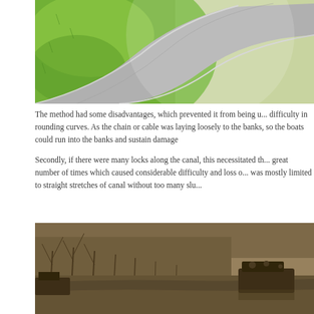[Figure (photo): Aerial view of a curved road or canal path with grass on the left side and a gravel/paved surface curving to the right, viewed from above.]
The method had some disadvantages, which prevented it from being u... difficulty in rounding curves. As the chain or cable was laying loosely to the banks, so the boats could run into the banks and sustain damage
Secondly, if there were many locks along the canal, this necessitated th... great number of times which caused considerable difficulty and loss o... was mostly limited to straight stretches of canal without too many slu...
[Figure (photo): Historical sepia/black-and-white photograph showing a canal boat or barge moving through a wooded waterway, with bare trees on both banks.]